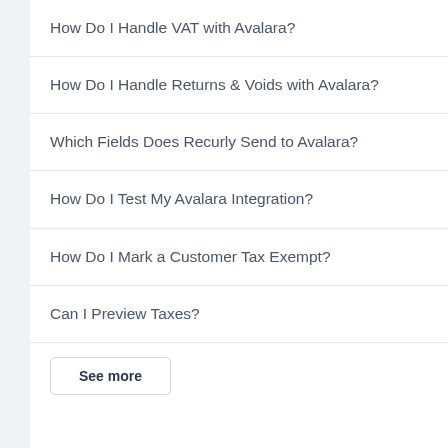How Do I Handle VAT with Avalara?
How Do I Handle Returns & Voids with Avalara?
Which Fields Does Recurly Send to Avalara?
How Do I Test My Avalara Integration?
How Do I Mark a Customer Tax Exempt?
Can I Preview Taxes?
See more